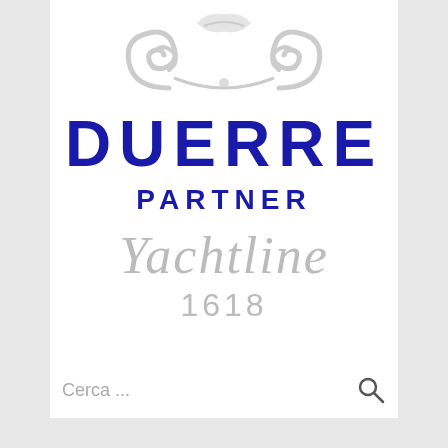[Figure (logo): Duerre Partner Yachtline 1618 logo with decorative grey ornament at top, large blue DUERRE text, blue PARTNER text, and grey italic Yachtline 1618 text]
Cerca ...